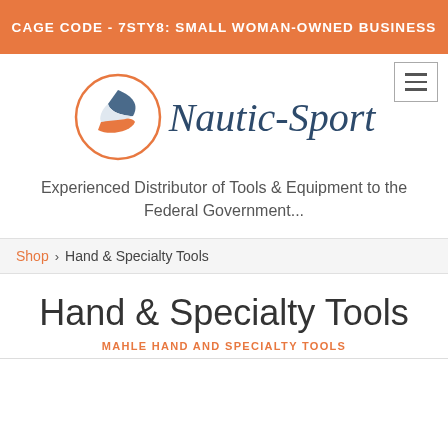CAGE CODE - 7STY8: SMALL WOMAN-OWNED BUSINESS
[Figure (logo): Nautic-Sport company logo with circular emblem containing a blue fish/sail shape and orange swoosh, with script text 'Nautic-Sport' beside it]
Experienced Distributor of Tools & Equipment to the Federal Government...
Shop › Hand & Specialty Tools
Hand & Specialty Tools
MAHLE HAND AND SPECIALTY TOOLS